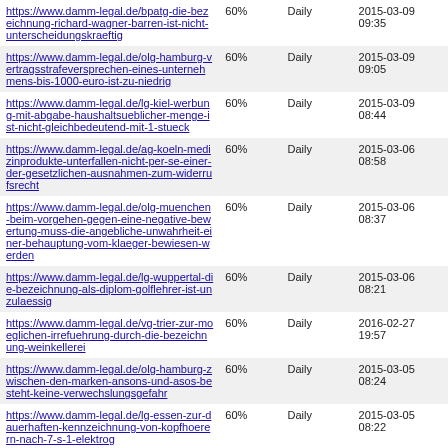| https://www.damm-legal.de/bpatg-die-bezeichnung-richard-wagner-barren-ist-nicht-unterscheidungskraeftig | 60% | Daily | 2015-03-09 09:35 |
| https://www.damm-legal.de/olg-hamburg-vertragsstrafeversprechen-eines-unternehmens-bis-1000-euro-ist-zu-niedrig | 60% | Daily | 2015-03-09 09:05 |
| https://www.damm-legal.de/lg-kiel-werbung-mit-abgabe-haushaltsueblicher-menge-ist-nicht-gleichbedeutend-mit-1-stueck | 60% | Daily | 2015-03-09 08:44 |
| https://www.damm-legal.de/ag-koeln-medizinprodukte-unterfallen-nicht-per-se-einer-der-gesetzlichen-ausnahmen-zum-widerrufsrecht | 60% | Daily | 2015-03-06 08:58 |
| https://www.damm-legal.de/olg-muenchen-beim-vorgehen-gegen-eine-negative-bewertung-muss-die-angebliche-unwahrheit-einer-behauptung-vom-klaeger-bewiesen-werden | 60% | Daily | 2015-03-06 08:37 |
| https://www.damm-legal.de/lg-wuppertal-die-bezeichnung-als-diplom-golflehrer-ist-unzulaessig | 60% | Daily | 2015-03-06 08:21 |
| https://www.damm-legal.de/vg-trier-zur-moeglichen-irrefuehrung-durch-die-bezeichnung-weinkellerei | 60% | Daily | 2016-02-27 19:57 |
| https://www.damm-legal.de/olg-hamburg-zwischen-den-marken-ansons-und-asos-besteht-keine-verwechslungsgefahr | 60% | Daily | 2015-03-05 08:24 |
| https://www.damm-legal.de/lg-essen-zur-dauerhaften-kennzeichnung-von-kopfhoerern-nach-7-s-1-elektrog | 60% | Daily | 2015-03-05 08:22 |
| https://www.damm-legal.de/olg-duesseldorf-die-auskunftspflicht-umfasst-auch-die-pflicht-sich-bei-dritten-ueber-den-aufenthalt-eines-unternehmens... | 60% | Daily | 2015-03-04 08:12 |